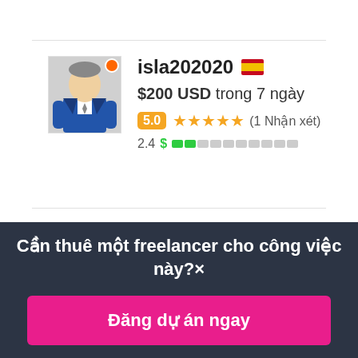[Figure (screenshot): Freelancer profile card for user isla202020 with Spain flag, $200 USD bid in 7 days, 5.0 rating with 1 review, competency score 2.4]
isla202020 🇪🇸
$200 USD trong 7 ngày
5.0 ★★★★★ (1 Nhận xét)
2.4 $ ■■□□□□□□□□
Cần thuê một freelancer cho công việc này? ×
Đăng dự án ngay